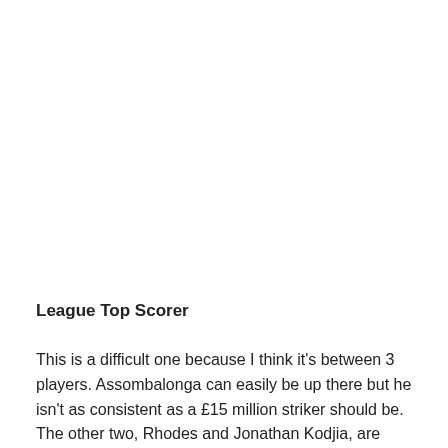League Top Scorer
This is a difficult one because I think it's between 3 players. Assombalonga can easily be up there but he isn't as consistent as a £15 million striker should be. The other two, Rhodes and Jonathan Kodjia, are more